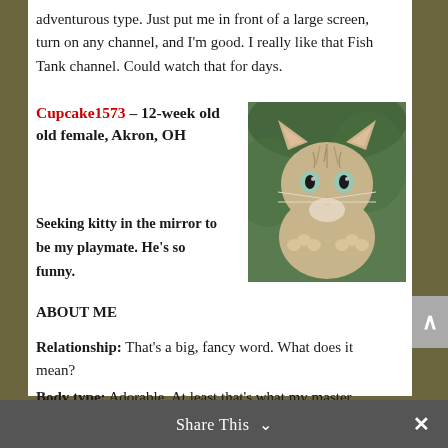adventurous type. Just put me in front of a large screen, turn on any channel, and I'm good. I really like that Fish Tank channel. Could watch that for days.
Cupcake1573 – 12-week old old female, Akron, OH
[Figure (photo): Close-up photo of a young tabby kitten with blue-green eyes, looking upward, with a blurred green background. The kitten appears to be praying or reaching up with its paws.]
Seeking kitty in the mirror to be my playmate. He's so funny.
ABOUT ME
Relationship: That's a big, fancy word. What does it mean?
Body type: Adorable. At least that's what my master tells me.
Have kids? Aren't I too little to have kittens of my own?